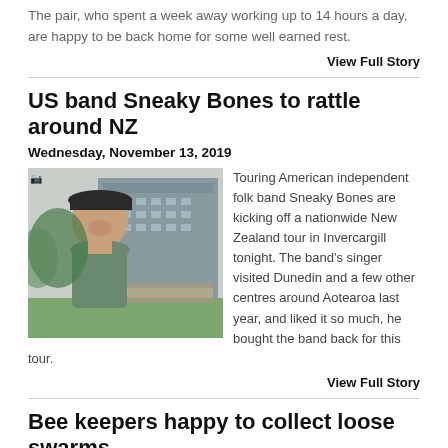The pair, who spent a week away working up to 14 hours a day, are happy to be back home for some well earned rest.
View Full Story
US band Sneaky Bones to rattle around NZ
Wednesday, November 13, 2019
[Figure (photo): Man with long hair and cap smiling outdoors in front of a building]
Touring American independent folk band Sneaky Bones are kicking off a nationwide New Zealand tour in Invercargill tonight. The band's singer visited Dunedin and a few other centres around Aotearoa last year, and liked it so much, he bought the band back for this tour.
View Full Story
Bee keepers happy to collect loose swarms
Wednesday, November 6, 2019